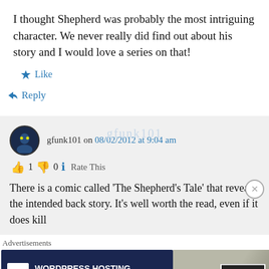I thought Shepherd was probably the most intriguing character. We never really did find out about his story and I would love a series on that!
★ Like
↳ Reply
gfunk101 on 08/02/2012 at 9:04 am
👍 1 👎 0 ℹ Rate This
There is a comic called 'The Shepherd's Tale' that reveals the intended back story. It's well worth the read, even if it does kill
Advertisements
[Figure (screenshot): Advertisement banner: WordPress Hosting That Means Business. with P logo and OPEN sign image]